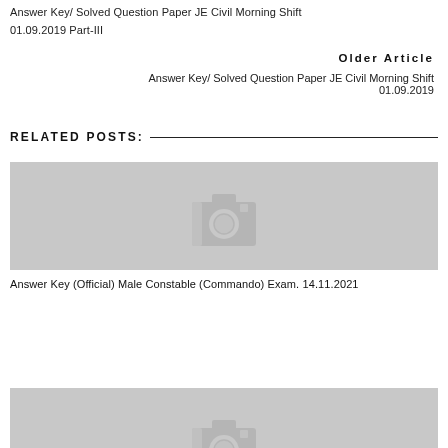Answer Key/ Solved Question Paper JE Civil Morning Shift 01.09.2019 Part-III
Older Article
Answer Key/ Solved Question Paper JE Civil Morning Shift 01.09.2019
RELATED POSTS:
[Figure (photo): Placeholder image with camera icon for related post]
Answer Key (Official) Male Constable (Commando) Exam. 14.11.2021
[Figure (photo): Placeholder image with camera icon for second related post]